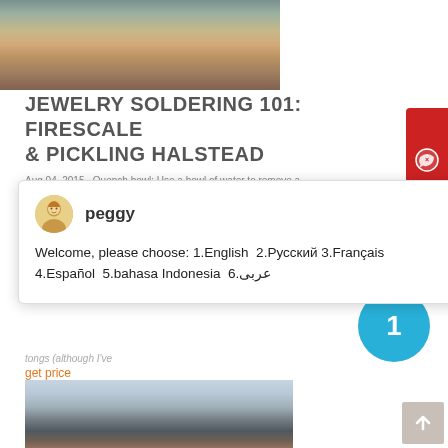[Figure (photo): Outdoor mining/quarrying site with excavated earth and industrial machinery in the background, sandy/clay soil exposed in foreground.]
JEWELRY SOLDERING 101: FIRESCALE & PICKLING HALSTEAD
Aug 04, 2015 · Quench bowl: Use a bowl of water to remove a...
[Figure (screenshot): Chat popup widget with agent 'peggy' showing language selection: Welcome, please choose: 1.English 2.Русский 3.Français 4.Español 5.bahasa Indonesia 6.عربی]
tongs (although I've
get price
[Figure (photo): Industrial stone crushing/mining equipment and machinery on a construction or quarry site outdoors.]
[Figure (other): Blue circle button with number 1 in the center.]